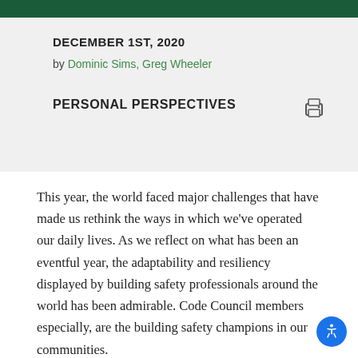DECEMBER 1ST, 2020
by Dominic Sims, Greg Wheeler
PERSONAL PERSPECTIVES
This year, the world faced major challenges that have made us rethink the ways in which we've operated our daily lives. As we reflect on what has been an eventful year, the adaptability and resiliency displayed by building safety professionals around the world has been admirable. Code Council members especially, are the building safety champions in our communities.
This year has proven the tenacity of our industry as you have navigated the pandemic alongside hurricanes and